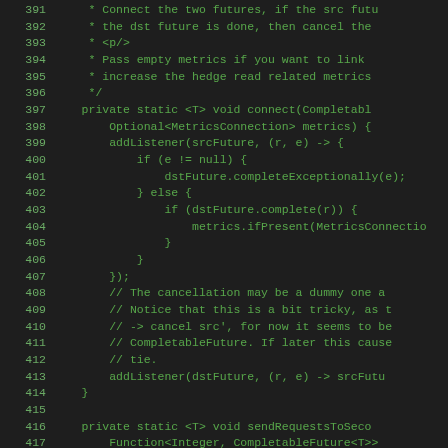[Figure (screenshot): Source code listing showing Java code with line numbers 391-419. Lines 391-396 are Javadoc comment lines. Lines 397-414 define a private static connect method. Lines 415-419 begin a private static sendRequestsToSeco method.]